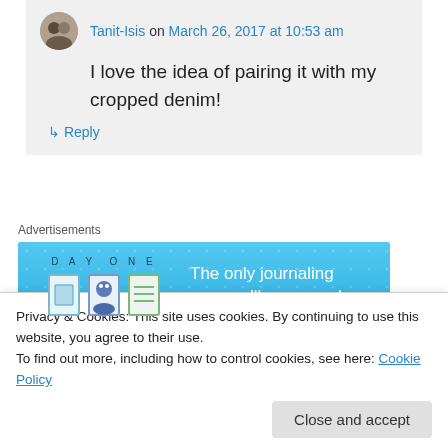Tanit-Isis on March 26, 2017 at 10:53 am
I love the idea of pairing it with my cropped denim!
↳ Reply
Advertisements
[Figure (other): Day One journaling app advertisement banner - blue background with app icons and text 'The only journaling app you'll ever need.']
Summer on March 20, 2017 at 12:02 am
you'll manufacture a non-wedding related time
Privacy & Cookies: This site uses cookies. By continuing to use this website, you agree to their use.
To find out more, including how to control cookies, see here: Cookie Policy
Close and accept